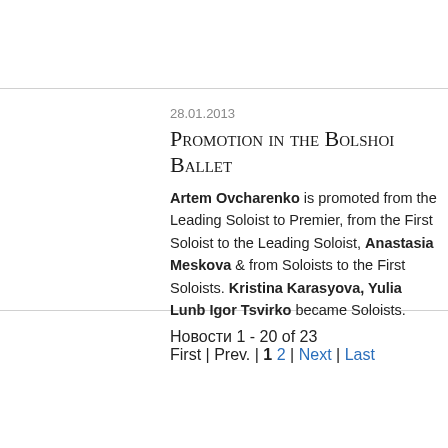28.01.2013
Promotion in the Bolshoi Ballet
Artem Ovcharenko is promoted from the Leading Soloist to Premier, from the First Soloist to the Leading Soloist, Anastasia Meskova & from Soloists to the First Soloists. Kristina Karasyova, Yulia Lunb Igor Tsvirko became Soloists.
Новости 1 - 20 of 23
First | Prev. | 1 2 | Next | Last